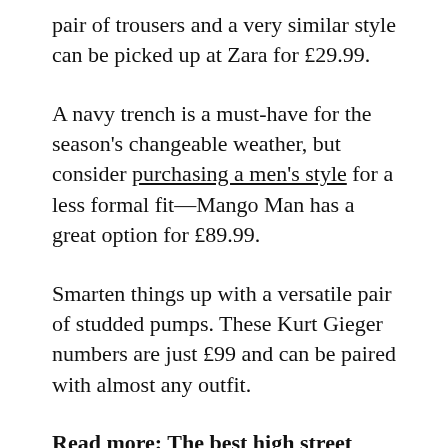pair of trousers and a very similar style can be picked up at Zara for £29.99.
A navy trench is a must-have for the season's changeable weather, but consider purchasing a men's style for a less formal fit—Mango Man has a great option for £89.99.
Smarten things up with a versatile pair of studded pumps. These Kurt Gieger numbers are just £99 and can be paired with almost any outfit.
Read more: The best high street wedding